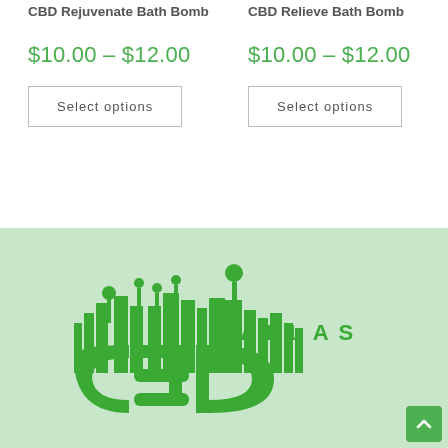CBD Rejuvenate Bath Bomb
$10.00 – $12.00
Select options
CBD Relieve Bath Bomb
$10.00 – $12.00
Select options
[Figure (logo): Dallas CBD company logo on light green background, featuring green city skyline silhouette and large 'CBD' text with 'DALLAS' above in spaced letters]